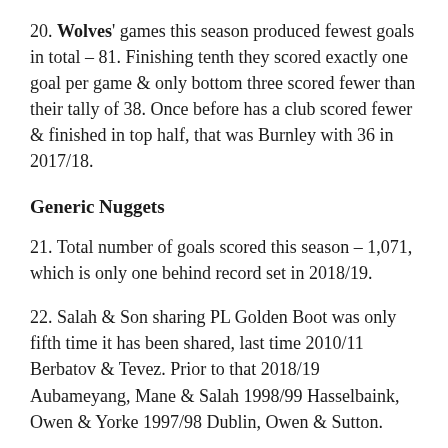20. Wolves' games this season produced fewest goals in total – 81. Finishing tenth they scored exactly one goal per game & only bottom three scored fewer than their tally of 38. Once before has a club scored fewer & finished in top half, that was Burnley with 36 in 2017/18.
Generic Nuggets
21. Total number of goals scored this season – 1,071, which is only one behind record set in 2018/19.
22. Salah & Son sharing PL Golden Boot was only fifth time it has been shared, last time 2010/11 Berbatov & Tevez. Prior to that 2018/19 Aubameyang, Mane & Salah 1998/99 Hasselbaink, Owen & Yorke 1997/98 Dublin, Owen & Sutton.
23. As well as being leading scorer Salah also topped…